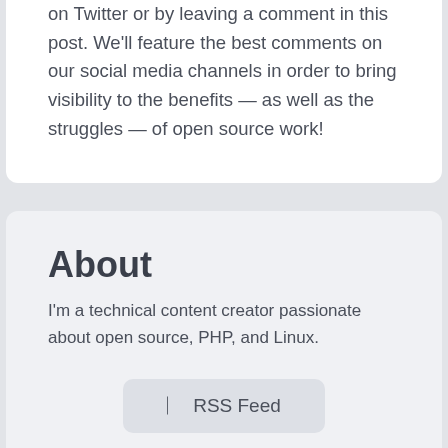on Twitter or by leaving a comment in this post. We'll feature the best comments on our social media channels in order to bring visibility to the benefits — as well as the struggles — of open source work!
About
I'm a technical content creator passionate about open source, PHP, and Linux.
RSS Feed